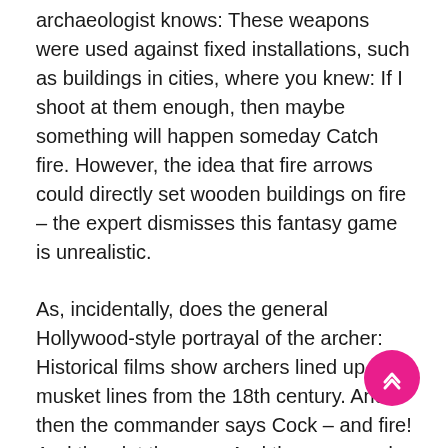archaeologist knows: These weapons were used against fixed installations, such as buildings in cities, where you knew: If I shoot at them enough, then maybe something will happen someday Catch fire. However, the idea that fire arrows could directly set wooden buildings on fire – the expert dismisses this fantasy game is unrealistic.
As, incidentally, does the general Hollywood-style portrayal of the archer: Historical films show archers lined up like musket lines from the 18th century. And then the commander says Cock – and fire! And then let them go. And the command 'fire' comes from the time of guns, which is complete nonsense.
The expert also points out that historical archers only briefly pulled the string to the extreme attachment point and